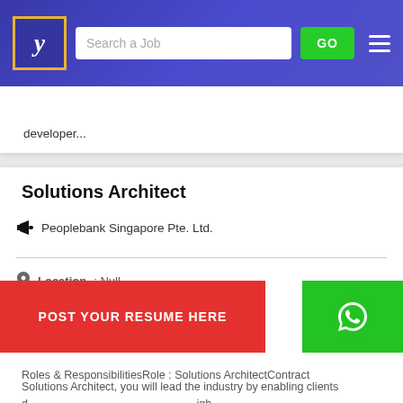[Figure (screenshot): Navigation bar with logo (stylized letter y in gold-bordered box), search bar with placeholder 'Search a Job', green GO button, and hamburger menu icon on blue gradient background]
developer...
Solutions Architect
Peoplebank Singapore Pte. Ltd.
Location : Null
State :
Industry : Computers / IT
Roles & ResponsibilitiesRole : Solutions ArchitectContract
Solutions Architect, you will lead the industry by enabling clients
[Figure (other): Red 'POST YOUR RESUME HERE' button overlaid on content, with green WhatsApp icon button to the right]